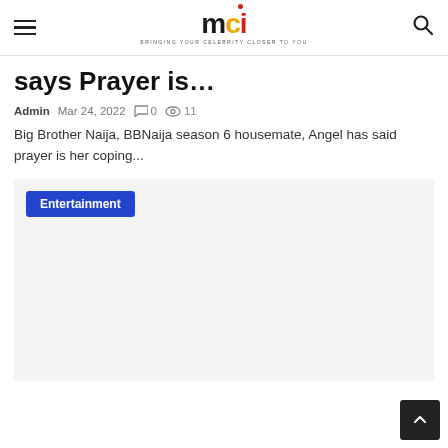mci — BRINGING YOUR CELEBRITY CLOSER TO YOU
says Prayer is…
Admin  Mar 24, 2022  0  11
Big Brother Naija, BBNaija season 6 housemate, Angel has said prayer is her coping...
Entertainment